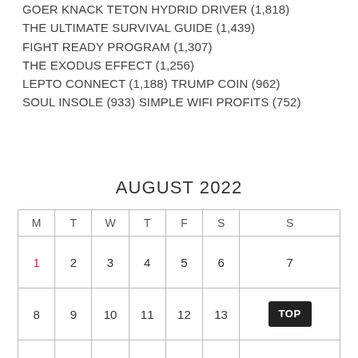GOER KNACK TETON HYDRID DRIVER (1,818)
THE ULTIMATE SURVIVAL GUIDE (1,439)
FIGHT READY PROGRAM (1,307)
THE EXODUS EFFECT (1,256)
LEPTO CONNECT (1,188)
TRUMP COIN (962)
SOUL INSOLE (933)
SIMPLE WIFI PROFITS (752)
AUGUST 2022
| M | T | W | T | F | S | S |
| --- | --- | --- | --- | --- | --- | --- |
| 1 | 2 | 3 | 4 | 5 | 6 | 7 |
| 8 | 9 | 10 | 11 | 12 | 13 | TOP |
| 15 | 16 | 17 | 18 | 19 | 20 | 21 |